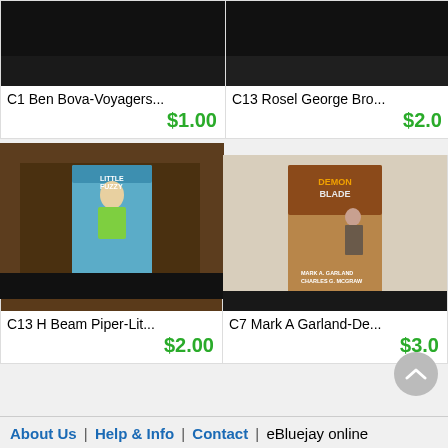[Figure (photo): Book listing photo for C1 Ben Bova-Voyagers, dark/black top image]
C1 Ben Bova-Voyagers...
$1.00
[Figure (photo): Book listing photo for C13 Rosel George Bro, dark/black top image]
C13 Rosel George Bro...
$2.0(0)
[Figure (photo): Photo of Little Fuzzy by H Beam Piper book on brown wooden table]
C13 H Beam Piper-Lit...
$2.00
[Figure (photo): Photo of Demon Blade by Mark A Garland and Charles G McGraw book]
C7 Mark A Garland-De...
$3.0(0)
About Us | Help & Info | Contact | eBluejay online